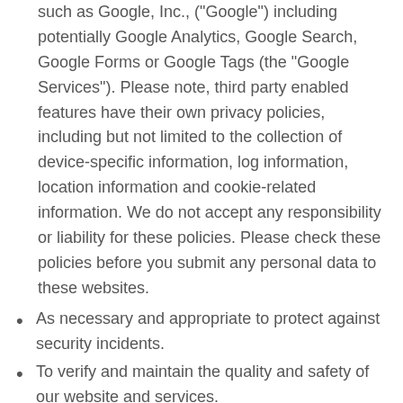such as Google, Inc., ("Google") including potentially Google Analytics, Google Search, Google Forms or Google Tags (the "Google Services"). Please note, third party enabled features have their own privacy policies, including but not limited to the collection of device-specific information, log information, location information and cookie-related information. We do not accept any responsibility or liability for these policies. Please check these policies before you submit any personal data to these websites.
As necessary and appropriate to protect against security incidents.
To verify and maintain the quality and safety of our website and services.
For example, to improve the website presentation and utilization and for